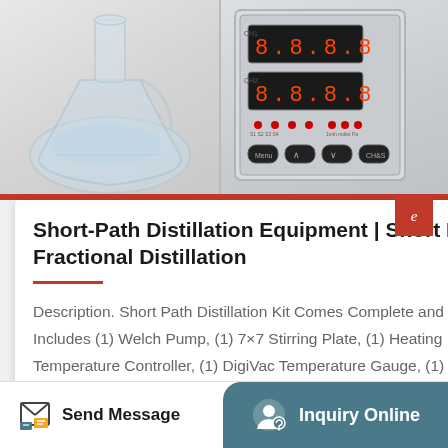[Figure (photo): Two side-by-side laboratory photos: left shows a round-bottom flask with clear liquid, right shows a digital temperature controller device with LED displays showing CH1 and CH2 channels and control buttons]
Short-Path Distillation Equipment | Short Path Fractional Distillation
Description. Short Path Distillation Kit Comes Complete and Ready to Use! Includes (1) Welch Pump, (1) 7×7 Stirring Plate, (1) Heating Mantle, (1) Temperature Controller, (1) DigiVac Temperature Gauge, (1) 1L Thr...
Send Message
Inquiry Online